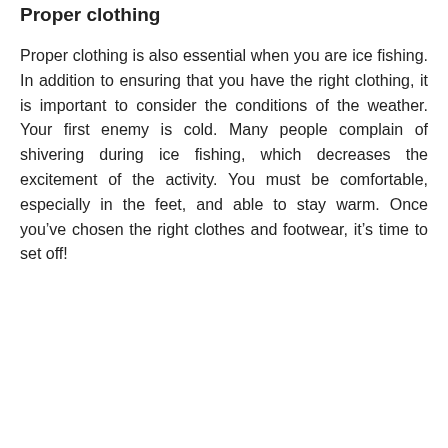Proper clothing
Proper clothing is also essential when you are ice fishing. In addition to ensuring that you have the right clothing, it is important to consider the conditions of the weather. Your first enemy is cold. Many people complain of shivering during ice fishing, which decreases the excitement of the activity. You must be comfortable, especially in the feet, and able to stay warm. Once you’ve chosen the right clothes and footwear, it’s time to set off!